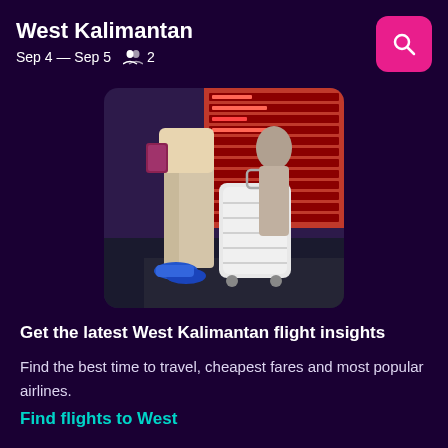West Kalimantan
Sep 4 — Sep 5   👤 2
[Figure (photo): A traveler pulling a white suitcase at an airport, wearing blue sneakers and beige pants, carrying documents, with departure boards in the background.]
Get the latest West Kalimantan flight insights
Find the best time to travel, cheapest fares and most popular airlines.
Find flights to West